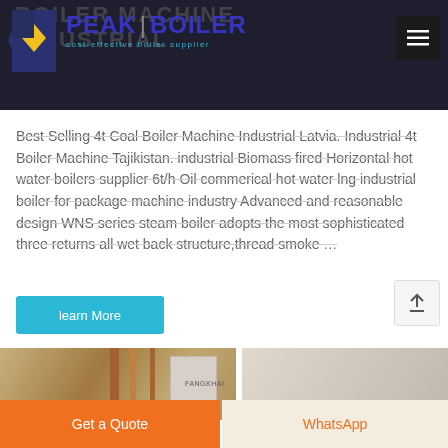BOILER MACHINE INDUSTRIAL
[Figure (logo): Peak Boiler logo with blue geometric icon and blue text reading PEAK BOILER with subtitle 'cost-effective boiler supplier']
Best Selling 4t Coal Boiler Machine Industrial Latvia. Industrial 4t Boiler Machine Tajikistan. industrial Biomass fired Horizontal hot water boilers supplier 6t/h Oil commerical hot water lng industrial boiler for package machine industry Advanced and reasonable design WNS series steam boiler adopts the most sophisticated three returns all wet back structure,thread smoke …
learn More
[Figure (photo): Two photos of industrial boiler installations showing copper and brass pipes and equipment]
Get a Quote
WhatsApp